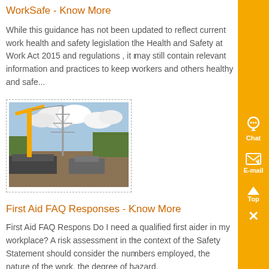WorkSafe - Know More
While this guidance has not been updated to reflect current work health and safety legislation the Health and Safety at Work Act 2015 and regulations , it may still contain relevant information and practices to keep workers and others healthy and safe...
[Figure (photo): Construction site photo showing a crane lifting a tall tower/pylon structure, with trucks and equipment visible on the ground, set against a partly cloudy sky with trees in the background.]
First Aid FAQ Responses - Know More
First Aid FAQ Respons Do I need a qualified first aider in my workplace? A risk assessment in the context of the Safety Statement should consider the numbers employed, the nature of the work, the degree of hazard,